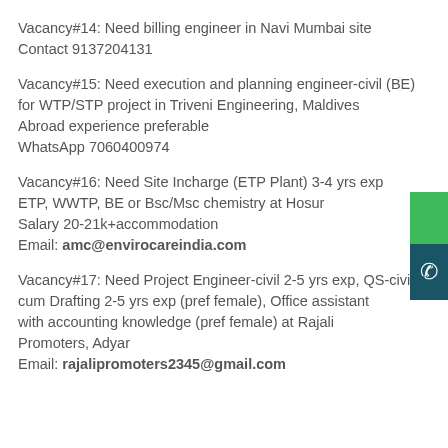Vacancy#14: Need billing engineer in Navi Mumbai site Contact 9137204131
Vacancy#15: Need execution and planning engineer-civil (BE) for WTP/STP project in Triveni Engineering, Maldives Abroad experience preferable WhatsApp 7060400974
Vacancy#16: Need Site Incharge (ETP Plant) 3-4 yrs exp ETP, WWTP, BE or Bsc/Msc chemistry at Hosur Salary 20-21k+accommodation Email: amc@envirocareindia.com
Vacancy#17: Need Project Engineer-civil 2-5 yrs exp, QS-civil cum Drafting 2-5 yrs exp (pref female), Office assistant with accounting knowledge (pref female) at Rajali Promoters, Adyar Email: rajalipromoters2345@gmail.com